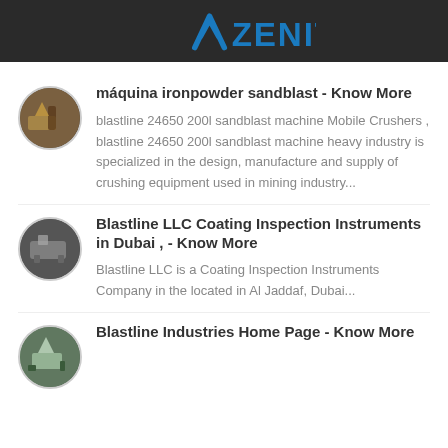ZENIT
máquina ironpowder sandblast - Know More
blastline 24650 200l sandblast machine Mobile Crushers , blastline 24650 200l sandblast machine heavy industry is specialized in the design, manufacture and supply of crushing equipment used in mining industry...
Blastline LLC Coating Inspection Instruments in Dubai , - Know More
Blastline LLC is a Coating Inspection Instruments Company in the located in Al Jaddaf, Dubai...
Blastline Industries Home Page - Know More